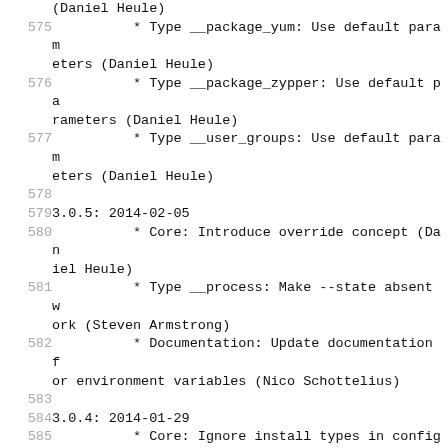(Daniel Heule)
575         * Type __package_yum: Use default parameters (Daniel Heule)
576         * Type __package_zypper: Use default parameters (Daniel Heule)
577         * Type __user_groups: Use default parameters (Daniel Heule)
578
579    3.0.5: 2014-02-05
580         * Core: Introduce override concept (Daniel Heule)
581         * Type __process: Make --state absent work (Steven Armstrong)
582         * Documentation: Update documentation for environment variables (Nico Schottelius)
583
584    3.0.4: 2014-01-29
585         * Core: Ignore install types in config mode (Nico Schottelius)
586         * Documentation: Update reference (files path in object space) (Nico Schottelius)
587         * Documentation: Update best practise: Replaces templates/ with files/ (Nico Schottelius)